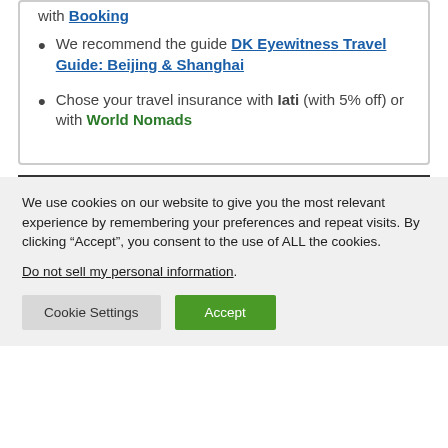with Booking
We recommend the guide DK Eyewitness Travel Guide: Beijing & Shanghai
Chose your travel insurance with Iati (with 5% off) or with World Nomads
We use cookies on our website to give you the most relevant experience by remembering your preferences and repeat visits. By clicking “Accept”, you consent to the use of ALL the cookies.
Do not sell my personal information.